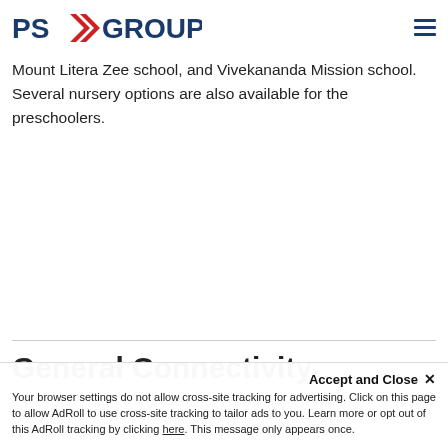PS GROUP
Mount Litera Zee school, and Vivekananda Mission school. Several nursery options are also available for the preschoolers.
General Connectivity
Accept and Close ×
Your browser settings do not allow cross-site tracking for advertising. Click on this page to allow AdRoll to use cross-site tracking to tailor ads to you. Learn more or opt out of this AdRoll tracking by clicking here. This message only appears once.